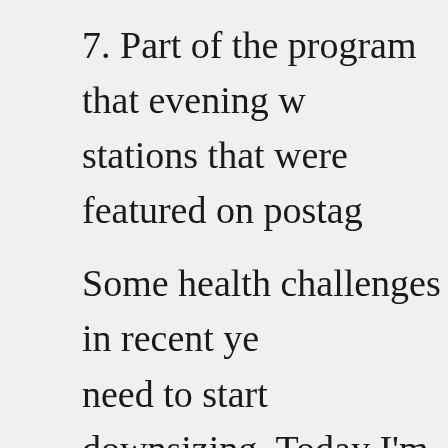7. Part of the program that evening w stations that were featured on postag Some health challenges in recent ye need to start downsizing. Today I'm stamp collections to Sparks Auction Attached is an illustrated description interest to RF Cafe friends and supp Although the next sale will be in Ma there will be enough time for Spark